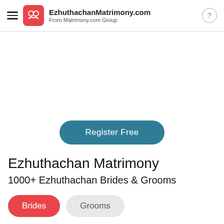EzhuthachanMatrimony.com From Matrimony.com Group
[Figure (illustration): White banner/hero area with a Register Free teal rounded button centered]
Ezhuthachan Matrimony
1000+ Ezhuthachan Brides & Grooms
Brides  Grooms